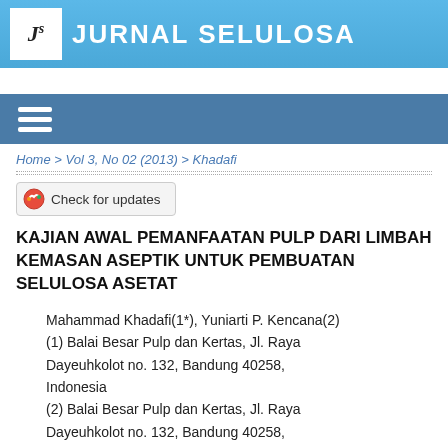JURNAL SELULOSA
[Figure (logo): Jurnal Selulosa logo with stylized Js letters on white background, journal title in white uppercase text on blue banner]
Home > Vol 3, No 02 (2013) > Khadafi
[Figure (other): Check for updates button with red/orange circular icon]
KAJIAN AWAL PEMANFAATAN PULP DARI LIMBAH KEMASAN ASEPTIK UNTUK PEMBUATAN SELULOSA ASETAT
Mahammad Khadafi(1*), Yuniarti P. Kencana(2)
(1) Balai Besar Pulp dan Kertas, Jl. Raya Dayeuhkolot no. 132, Bandung 40258, Indonesia
(2) Balai Besar Pulp dan Kertas, Jl. Raya Dayeuhkolot no. 132, Bandung 40258,